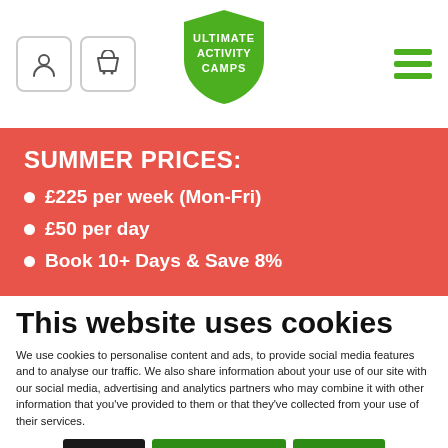[Figure (logo): Ultimate Activity Camps logo — green shield with white text]
SUMMER PRICES:
£225 per week (Mon-Fri)
£50 per day
Book 10+ Days & Save 8%
This website uses cookies
We use cookies to personalise content and ads, to provide social media features and to analyse our traffic. We also share information about your use of our site with our social media, advertising and analytics partners who may combine it with other information that you've provided to them or that they've collected from your use of their services.
Deny | Allow selection | Allow all
Necessary  Preferences  Statistics  Marketing  Show details